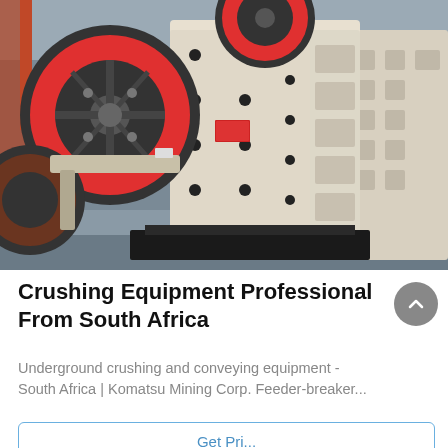[Figure (photo): Industrial jaw crusher / crushing equipment photographed in a factory setting. The machine is large, white/cream colored with black bolts and circular red-rimmed flywheels. Multiple units visible in the background on a factory floor.]
Crushing Equipment Professional From South Africa
Underground crushing and conveying equipment - South Africa | Komatsu Mining Corp. Feeder-breaker...